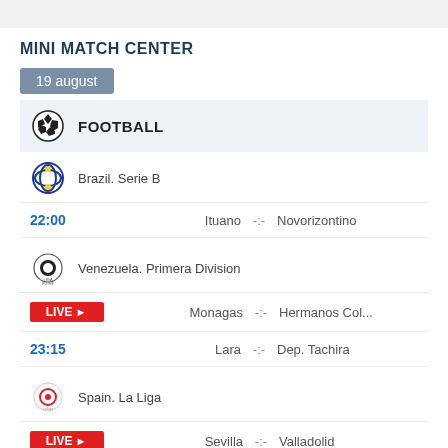MINI MATCH CENTER
19 august
FOOTBALL
Brazil. Serie B
22:00   Ituano  -:-  Novorizontino
Venezuela. Primera Division
LIVE  Monagas  -:-  Hermanos Col...
23:15  Lara  -:-  Dep. Tachira
Spain. La Liga
LIVE  Sevilla  -:-  Valladolid